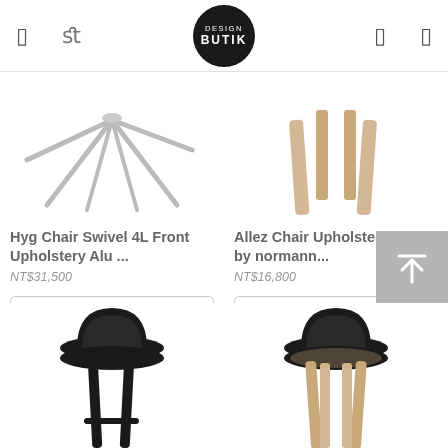Design Butik - navigation header with logo and icons
[Figure (photo): Hyg Chair Swivel 4L - partial view of silver/aluminum star base legs on white background]
Hyg Chair Swivel 4L Front Upholstery Alu ...
NT$31,500
[Figure (photo): Allez Chair Upholstery Oak - partial view of light oak wooden legs on white background]
Allez Chair Upholstery Oak by normann...
NT$16,800
[Figure (photo): Black upholstered bar stool with black legs, bottom portion visible]
[Figure (photo): Black upholstered bar stool with light oak wooden legs, bottom portion visible]